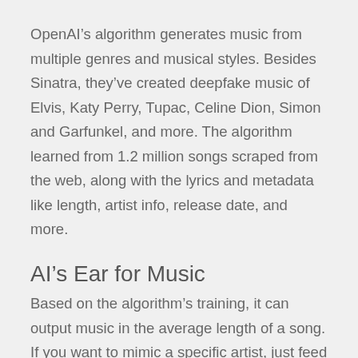OpenAI's algorithm generates music from multiple genres and musical styles. Besides Sinatra, they've created deepfake music of Elvis, Katy Perry, Tupac, Celine Dion, Simon and Garfunkel, and more. The algorithm learned from 1.2 million songs scraped from the web, along with the lyrics and metadata like length, artist info, release date, and more.
AI's Ear for Music
Based on the algorithm's training, it can output music in the average length of a song. If you want to mimic a specific artist, just feed the algorithm songs from the artist and wait for a “new” song to come out of the other end.